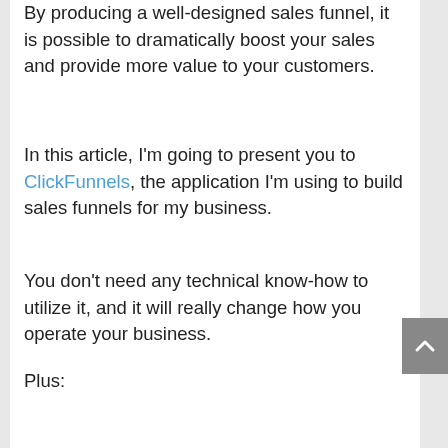By producing a well-designed sales funnel, it is possible to dramatically boost your sales and provide more value to your customers.
In this article, I'm going to present you to ClickFunnels, the application I'm using to build sales funnels for my business.
You don't need any technical know-how to utilize it, and it will really change how you operate your business.
Plus:
If you are ready to throw yourself into the ClickFunnels world, it's one of the best affiliate programs on the market. I will be talking about that too later on.